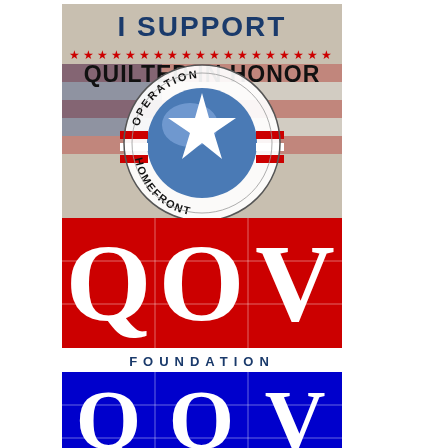[Figure (logo): I Support Quilted in Honor banner with American flag background, red stars row, and Operation Homefront circular logo with blue star and red/white stripes]
[Figure (logo): QOV Foundation logo - red background with white Q O V letters in large serif font with grid overlay lines]
[Figure (logo): FOUNDATION text label in navy letter-spaced font on white background]
[Figure (logo): QOV logo on blue background with white Q O V letters in large serif font with grid overlay lines]